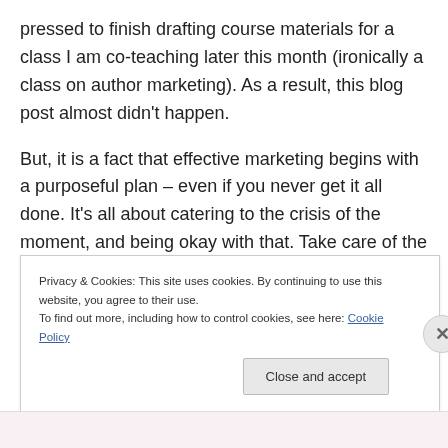pressed to finish drafting course materials for a class I am co-teaching later this month (ironically a class on author marketing). As a result, this blog post almost didn't happen.
But, it is a fact that effective marketing begins with a purposeful plan – even if you never get it all done. It's all about catering to the crisis of the moment, and being okay with that. Take care of the critical issues first, and then proceed with the plan.
T...
Privacy & Cookies: This site uses cookies. By continuing to use this website, you agree to their use.
To find out more, including how to control cookies, see here: Cookie Policy